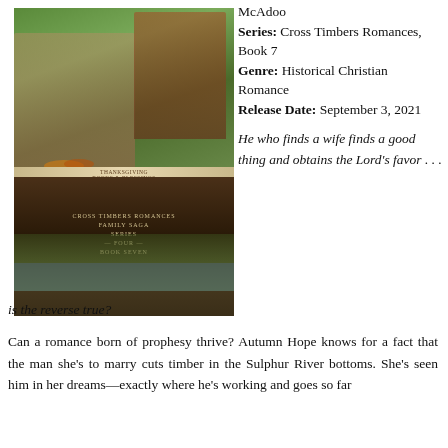[Figure (illustration): Book cover for 'Texas Timbers' by Caryl McAdoo, Cross Timbers Romances Family Saga Series Book Seven. Shows a woman in the foreground, a man with an axe in the background, and a forest river scene at the bottom. Teal banner with author name in center.]
McAdoo
Series: Cross Timbers Romances, Book 7
Genre: Historical Christian Romance
Release Date: September 3, 2021
He who finds a wife finds a good thing and obtains the Lord's favor . . . is the reverse true?
Can a romance born of prophesy thrive? Autumn Hope knows for a fact that the man she's to marry cuts timber in the Sulphur River bottoms. She's seen him in her dreams—exactly where he's working and goes so far as to describe him to her mother, father and the